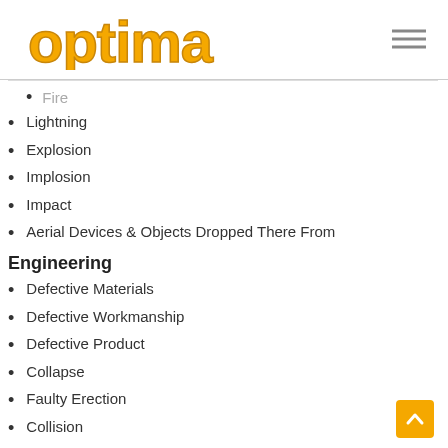optima
Fire
Lightning
Explosion
Implosion
Impact
Aerial Devices & Objects Dropped There From
Engineering
Defective Materials
Defective Workmanship
Defective Product
Collapse
Faulty Erection
Collision
Others